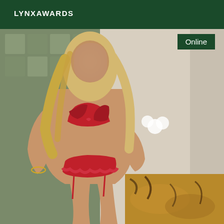LYNXAWARDS
[Figure (photo): A woman with long blonde hair wearing red satin lingerie, posed in an indoor setting. Her face is blurred. A green 'Online' badge appears in the upper right of the photo.]